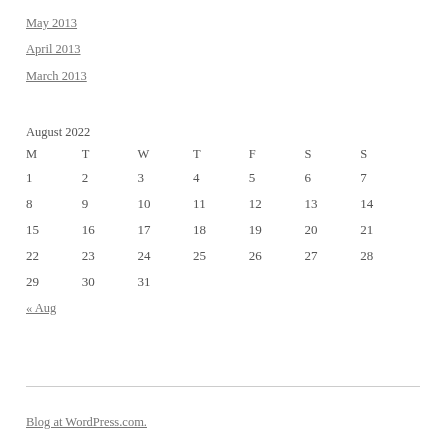May 2013
April 2013
March 2013
August 2022
| M | T | W | T | F | S | S |
| --- | --- | --- | --- | --- | --- | --- |
| 1 | 2 | 3 | 4 | 5 | 6 | 7 |
| 8 | 9 | 10 | 11 | 12 | 13 | 14 |
| 15 | 16 | 17 | 18 | 19 | 20 | 21 |
| 22 | 23 | 24 | 25 | 26 | 27 | 28 |
| 29 | 30 | 31 |  |  |  |  |
« Aug
Blog at WordPress.com.